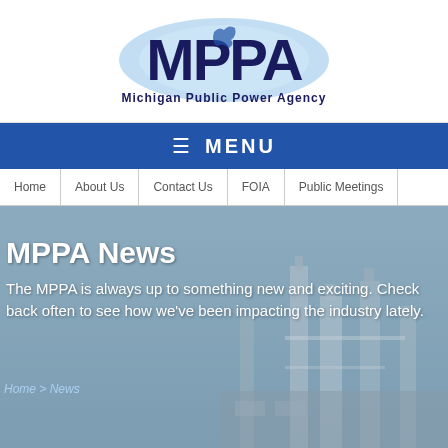[Figure (logo): MPPA Michigan Public Power Agency logo with blue circular glow behind bold dark blue letters]
≡ MENU
Home | About Us | Contact Us | FOIA | Public Meetings
Home / News
MPPA News
The MPPA is always up to something new and exciting. Check back often to see how we've been impacting the industry lately.